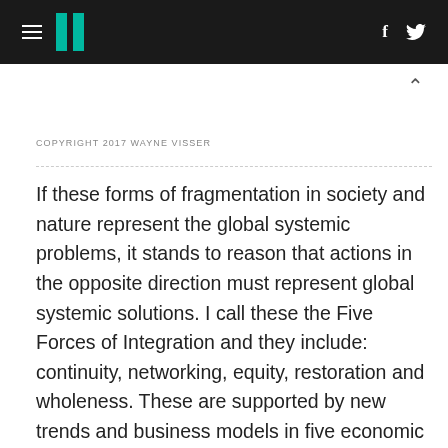HuffPost — hamburger menu, logo, social icons (f, Twitter)
COPYRIGHT 2017 WAYNE VISSER
If these forms of fragmentation in society and nature represent the global systemic problems, it stands to reason that actions in the opposite direction must represent global systemic solutions. I call these the Five Forces of Integration and they include: continuity, networking, equity, restoration and wholeness. These are supported by new trends and business models in five economic areas, namely the resilience, exponential, access, circular and